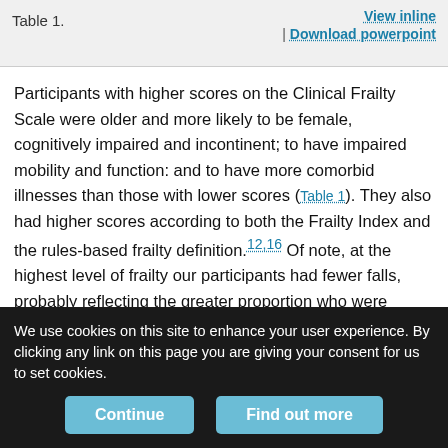Table 1.
View inline | Download powerpoint
Participants with higher scores on the Clinical Frailty Scale were older and more likely to be female, cognitively impaired and incontinent; to have impaired mobility and function: and to have more comorbid illnesses than those with lower scores (Table 1). They also had higher scores according to both the Frailty Index and the rules-based frailty definition.12,16 Of note, at the highest level of frailty our participants had fewer falls, probably reflecting the greater proportion who were bedridden. The degree of correlation between the judgment-based CSHA Clinical Frailty Scale and the mathematically derived Frailty Index was high (Pearson coefficient 0.80, p < 0.01),
We use cookies on this site to enhance your user experience. By clicking any link on this page you are giving your consent for us to set cookies.
Continue | Find out more